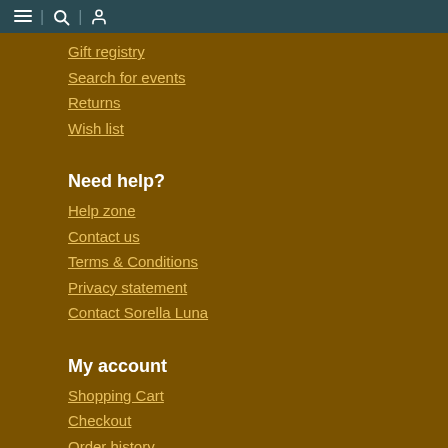Navigation bar with hamburger, search, and account icons
Gift registry
Search for events
Returns
Wish list
Need help?
Help zone
Contact us
Terms & Conditions
Privacy statement
Contact Sorella Luna
My account
Shopping Cart
Checkout
Order history
Sign in
Register